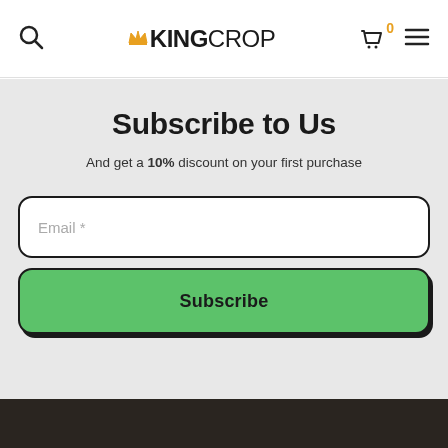KINGCROP — navigation header with search, logo, cart (0), hamburger menu
Subscribe to Us
And get a 10% discount on your first purchase
[Figure (screenshot): Email input field with placeholder text 'Email *', rounded rectangle with dark border]
[Figure (screenshot): Green Subscribe button with dark border and shadow, rounded rectangle]
Dark footer bar